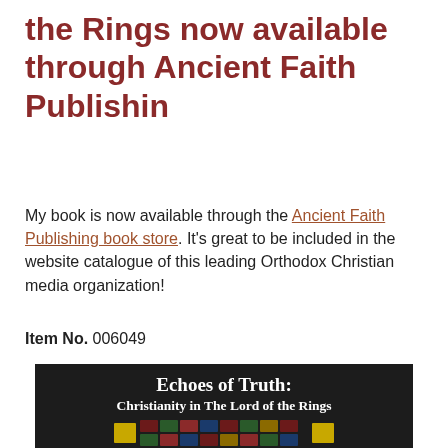the Rings now available through Ancient Faith Publishin
My book is now available through the Ancient Faith Publishing book store. It's great to be included in the website catalogue of this leading Orthodox Christian media organization!
Item No. 006049
[Figure (illustration): Book cover image with dark background showing title 'Echoes of Truth: Christianity in The Lord of the Rings' in white bold serif text, with decorative stained-glass style mosaic pattern at bottom]